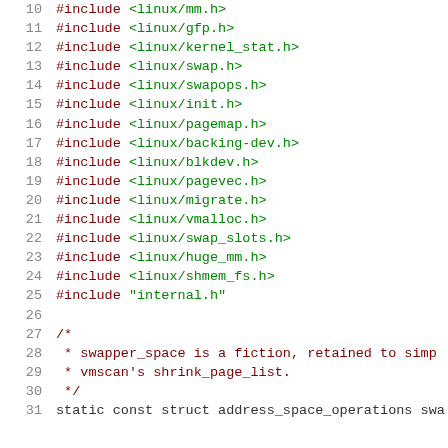Source code listing lines 10-31, C include directives and comment block
10    #include <linux/mm.h>
11    #include <linux/gfp.h>
12    #include <linux/kernel_stat.h>
13    #include <linux/swap.h>
14    #include <linux/swapops.h>
15    #include <linux/init.h>
16    #include <linux/pagemap.h>
17    #include <linux/backing-dev.h>
18    #include <linux/blkdev.h>
19    #include <linux/pagevec.h>
20    #include <linux/migrate.h>
21    #include <linux/vmalloc.h>
22    #include <linux/swap_slots.h>
23    #include <linux/huge_mm.h>
24    #include <linux/shmem_fs.h>
25    #include "internal.h"
26
27    /*
28     * swapper_space is a fiction, retained to simp...
29     * vmscan's shrink_page_list.
30     */
31    static const struct address_space_operations swa...